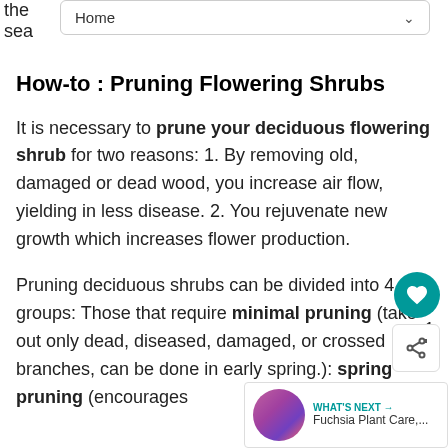Home
How-to : Pruning Flowering Shrubs
It is necessary to prune your deciduous flowering shrub for two reasons: 1. By removing old, damaged or dead wood, you increase air flow, yielding in less disease. 2. You rejuvenate new growth which increases flower production.
Pruning deciduous shrubs can be divided into 4 groups: Those that require minimal pruning (take out only dead, diseased, damaged, or crossed branches, can be done in early spring.): spring pruning (encourages